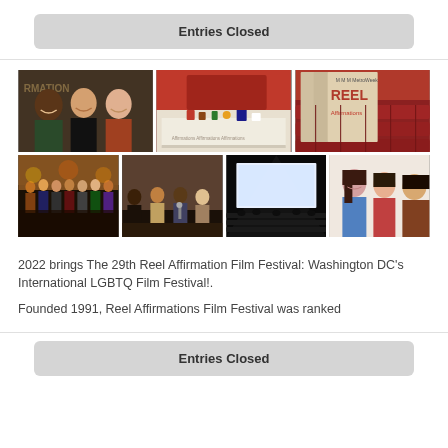Entries Closed
[Figure (photo): Grid of 7 photos from the Reel Affirmation Film Festival showing attendees, a vendor table, magazine covers with REEL text, performers on stage, a panel discussion, a dark cinema screen, and audience members.]
2022 brings The 29th Reel Affirmation Film Festival: Washington DC’s International LGBTQ Film Festival!.
Founded 1991, Reel Affirmations Film Festival was ranked
Entries Closed